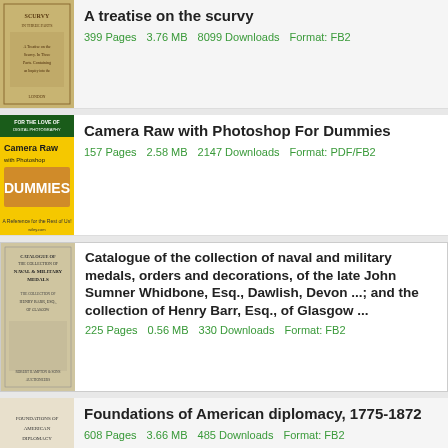A treatise on the scurvy — 399 Pages, 3.76 MB, 8099 Downloads, Format: FB2
Camera Raw with Photoshop For Dummies — 157 Pages, 2.58 MB, 2147 Downloads, Format: PDF/FB2
Catalogue of the collection of naval and military medals, orders and decorations, of the late John Sumner Whidbone, Esq., Dawlish, Devon ...; and the collection of Henry Barr, Esq., of Glasgow ... — 225 Pages, 0.56 MB, 330 Downloads, Format: FB2
Foundations of American diplomacy, 1775-1872 — 608 Pages, 3.66 MB, 485 Downloads, Format: FB2